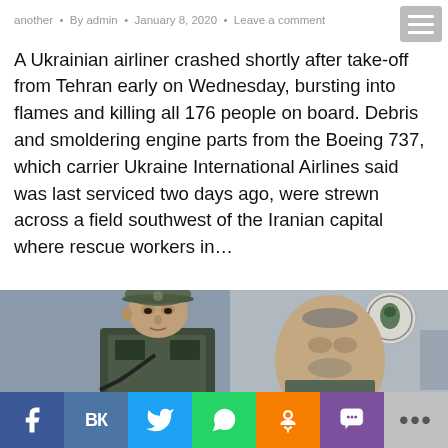another • By admin • January 8, 2020 • Leave a comment
A Ukrainian airliner crashed shortly after take-off from Tehran early on Wednesday, bursting into flames and killing all 176 people on board. Debris and smoldering engine parts from the Boeing 737, which carrier Ukraine International Airlines said was last serviced two days ago, were strewn across a field southwest of the Iranian capital where rescue workers in…
[Figure (photo): A young soldier in military cap and body armor stands guard, with a blurred background showing a person's face and a military insignia emblem.]